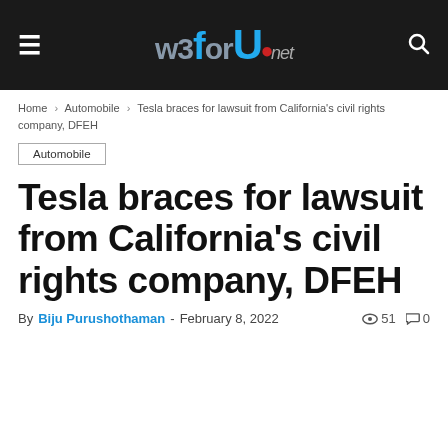w3forU.net
Home › Automobile › Tesla braces for lawsuit from California's civil rights company, DFEH
Automobile
Tesla braces for lawsuit from California's civil rights company, DFEH
By Biju Purushothaman - February 8, 2022   51  0